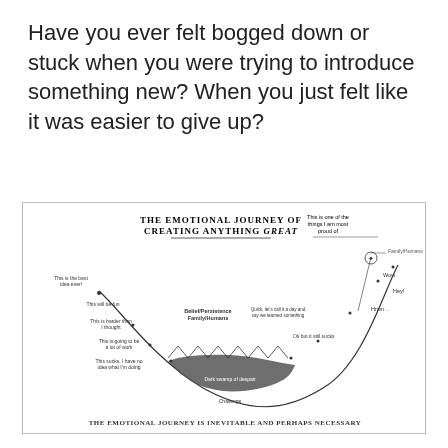Have you ever felt bogged down or stuck when you were trying to introduce something new? When you just felt like it was easier to give up?
[Figure (infographic): The Emotional Journey of Creating Anything Great — a U-shaped curve showing the emotional stages from excitement at the start, through doubt and difficulty at the bottom, back up to pride and success. Labels along the curve include: 'This is the best idea ever!', 'This will be fun', 'This is harder than I thought', 'This is going to be a lot of work', 'This sucks. I have no idea what I'm doing', 'Dark swamp of despair', 'Challenge', 'Ok but it still sucks', 'Quick, let's call it a day and say we learned something', 'Hmm…', 'Hey!', 'Wow', 'Family/Humans', 'This is one of the things I am most proud of'. Bottom caption: THE EMOTIONAL JOURNEY IS INEVITABLE AND PERHAPS NECESSARY]